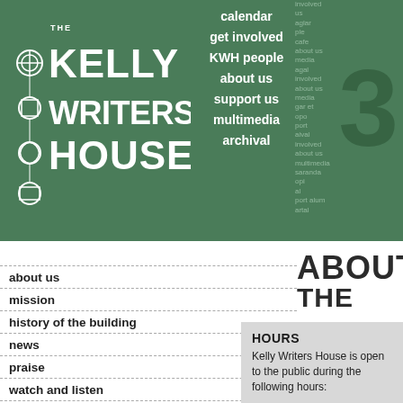[Figure (logo): The Kelly Writers House logo with Celtic decorative symbol, white text on green background]
calendar
get involved
KWH people
about us
support us
multimedia
archival
about us
mission
history of the building
news
praise
watch and listen
maps and directions
ABOUT THE
HOURS
Kelly Writers House is open to the public during the following hours:
Mon: 10 AM – 11 PM
Tue: 10 AM – 11 PM
Wed: 10 AM – 11 PM